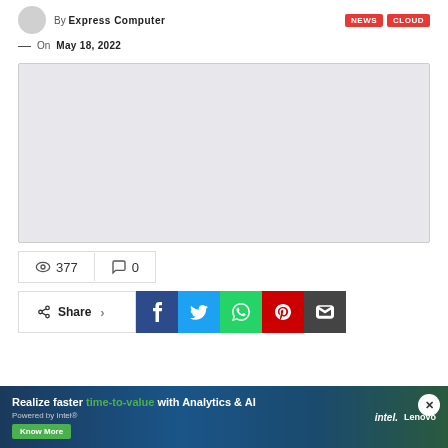By Express Computer
NEWS  CLOUD
— On May 18, 2022
[Figure (photo): Large grey placeholder image area]
377  0
Share
[Figure (infographic): Advertisement banner: Realize faster time-to-value with Analytics & AI. Powered by Intel. Know More. Intel Lenovo logos.]